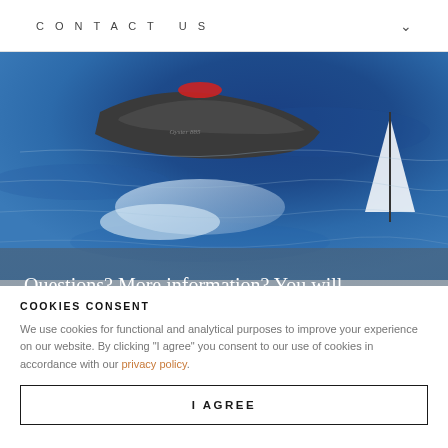CONTACT US
[Figure (photo): Aerial/overhead view of a large sailing yacht (Oyster 885) on deep blue ocean water, showing the bow, hull, and blue sea with white foam wake.]
Questions? More information? You will find it here.
For more information on the Oyster 885.
COOKIES CONSENT
We use cookies for functional and analytical purposes to improve your experience on our website. By clicking "I agree" you consent to our use of cookies in accordance with our privacy policy.
I AGREE